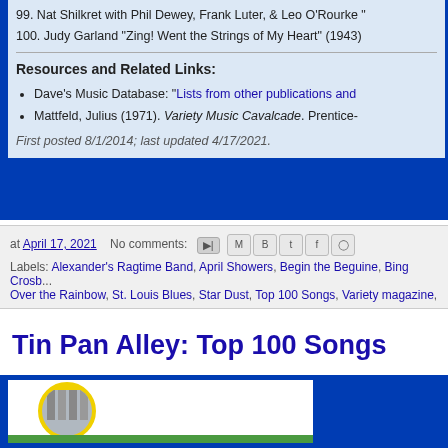99. Nat Shilkret with Phil Dewey, Frank Luter, & Leo O'Rourke "
100. Judy Garland "Zing! Went the Strings of My Heart" (1943)
Resources and Related Links:
Dave's Music Database: "Lists from other publications and
Mattfeld, Julius (1971). Variety Music Cavalcade. Prentice-
First posted 8/1/2014; last updated 4/17/2021.
at April 17, 2021   No comments:
Labels: Alexander's Ragtime Band, April Showers, Begin the Beguine, Bing Crosb... Over the Rainbow, St. Louis Blues, Star Dust, Top 100 Songs, Variety magazine,
Tin Pan Alley: Top 100 Songs
[Figure (photo): Photo of a building seen through a yellow circle frame, inside a blue box]